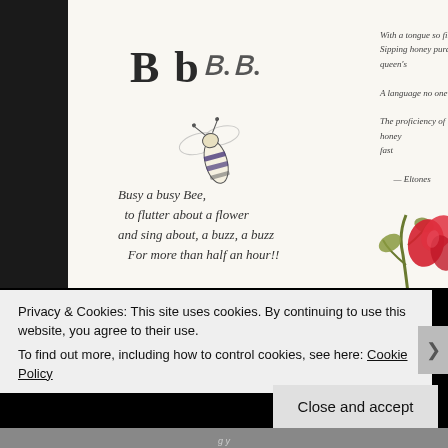[Figure (photo): A photograph of an open antique book showing a page with the letter 'Bb' in serif and cursive script, a hand-drawn illustration of a bee, handwritten poem text reading 'Busy a busy Bee, to flutter about a flower and sing about, a buzz, a buzz For more than half an hour!!', and on the right side page, cursive handwritten text and a botanical illustration of a red flower with green leaves.]
Privacy & Cookies: This site uses cookies. By continuing to use this website, you agree to their use.
To find out more, including how to control cookies, see here: Cookie Policy
Close and accept